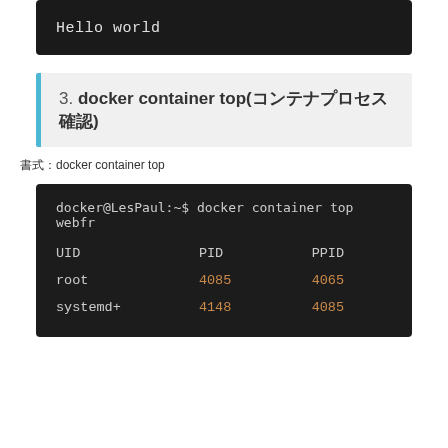[Figure (screenshot): Terminal window showing 'Hello world' output on dark background]
3. docker container top(コンテナプロセス確認)
書式：docker container top
[Figure (screenshot): Terminal showing: docker@LesPaul:~$ docker container top webfr
UID   PID   PPID
root  4085  4065
systemd+  4148  4085]